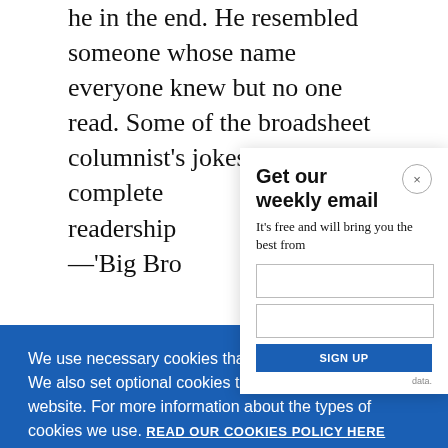he in the end. He resembled someone whose name everyone knew but no one read. Some of the broadsheet columnist's jokes were complete… readership… —'Big Bro…
[Figure (screenshot): Email signup modal overlay with title 'Get our weekly email', subtitle 'It's free and will bring you the best from', close button (×), and input fields with blue submit button]
[Figure (screenshot): Cookie consent banner (blue background) with text 'We use necessary cookies that allow our site to work. We also set optional cookies that help us improve our website. For more information about the types of cookies we use. READ OUR COOKIES POLICY HERE', with two buttons: COOKIE SETTINGS and ALLOW ALL COOKIES]
21, 1950